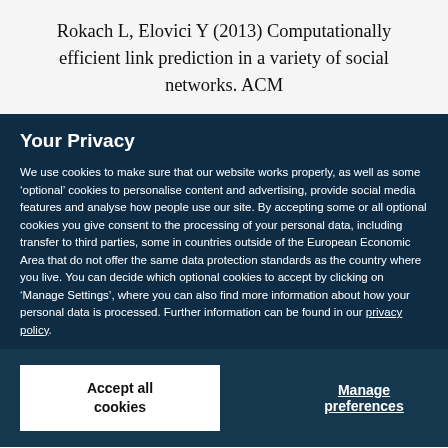Rokach L, Elovici Y (2013) Computationally efficient link prediction in a variety of social networks. ACM
Your Privacy
We use cookies to make sure that our website works properly, as well as some ‘optional’ cookies to personalise content and advertising, provide social media features and analyse how people use our site. By accepting some or all optional cookies you give consent to the processing of your personal data, including transfer to third parties, some in countries outside of the European Economic Area that do not offer the same data protection standards as the country where you live. You can decide which optional cookies to accept by clicking on ‘Manage Settings’, where you can also find more information about how your personal data is processed. Further information can be found in our privacy policy.
Accept all cookies
Manage preferences